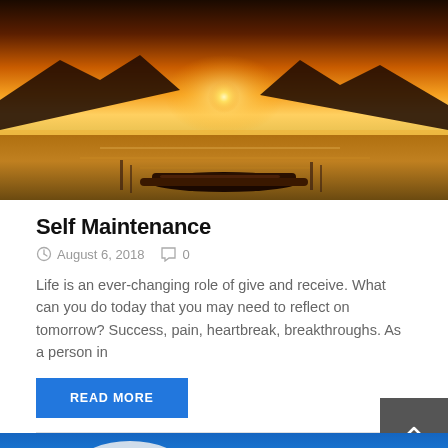[Figure (photo): Sunset over water with a boat in the foreground, orange sky with sun on the horizon and silhouetted mountains]
Self Maintenance
August 6, 2018   0
Life is an ever-changing role of give and receive. What can you do today that you may need to reflect on tomorrow? Success, pain, heartbreak, breakthroughs. As a person in
READ MORE
[Figure (photo): Blue sky with clouds and silhouetted landscape at the bottom, with a camera icon overlay in the lower right corner]